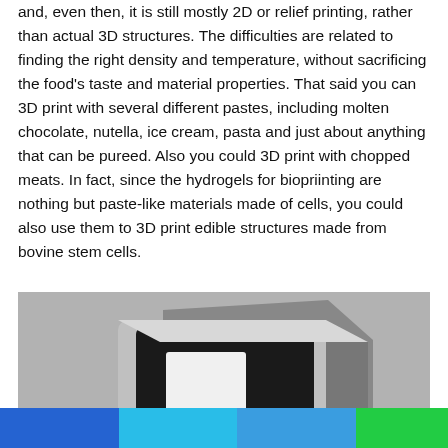and, even then, it is still mostly 2D or relief printing, rather than actual 3D structures. The difficulties are related to finding the right density and temperature, without sacrificing the food's taste and material properties. That said you can 3D print with several different pastes, including molten chocolate, nutella, ice cream, pasta and just about anything that can be pureed. Also you could 3D print with chopped meats. In fact, since the hydrogels for biopriinting are nothing but paste-like materials made of cells, you could also use them to 3D print edible structures made from bovine stem cells.
[Figure (photo): A 3D food printer device — a compact silver/grey cube-shaped appliance with a black front panel featuring a white square window/door, shown against a grey background.]
[Figure (infographic): Social sharing bar with four colored segments: blue, light blue, medium blue, and green.]